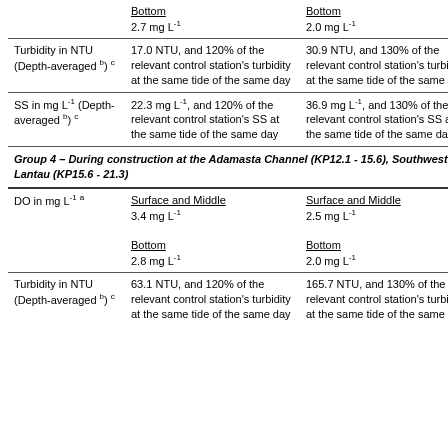| Parameter | Action Level 1 | Action Level 2 |
| --- | --- | --- |
|  | Bottom
2.7 mg L-1 | Bottom
2.0 mg L-1 |
| Turbidity in NTU (Depth-averaged b) c | 17.0 NTU, and 120% of the relevant control station's turbidity at the same tide of the same day | 30.9 NTU, and 130% of the relevant control station's turbidity at the same tide of the same day |
| SS in mg L-1 (Depth-averaged b) c | 22.3 mg L-1, and 120% of the relevant control station's SS at the same tide of the same day | 36.9 mg L-1, and 130% of the relevant control station's SS at the same tide of the same day |
| Group 4 – During construction at the Adamasta Channel (KP12.1 - 15.6), Southwest Lantau (KP15.6 - 21.3) |  |  |
| DO in mg L-1 a | Surface and Middle
3.4 mg L-1

Bottom
2.8 mg L-1 | Surface and Middle
2.5 mg L-1

Bottom
2.0 mg L-1 |
| Turbidity in NTU (Depth-averaged b) c | 63.1 NTU, and 120% of the relevant control station's turbidity at the same tide of the same day | 165.7 NTU, and 130% of the relevant control station's turbidity at the same tide of the same day |